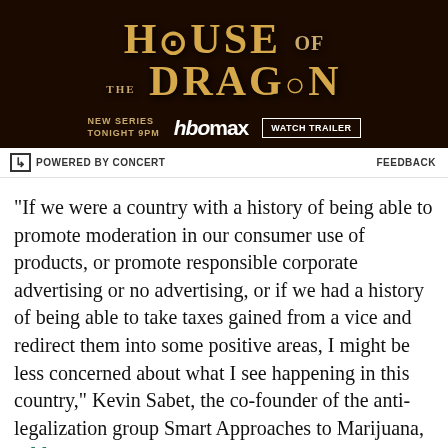[Figure (screenshot): Advertisement banner for House of the Dragon HBO Max series with dark fantasy background and golden text. Shows 'HOUSE OF THE DRAGON' title, 'NEW SERIES TONIGHT 9PM', HBO Max logo, and 'WATCH TRAILER' button.]
POWERED BY CONCERT    FEEDBACK
"If we were a country with a history of being able to promote moderation in our consumer use of products, or promote responsible corporate advertising or no advertising, or if we had a history of being able to take taxes gained from a vice and redirect them into some positive areas, I might be less concerned about what I see happening in this country," Kevin Sabet, the co-founder of the anti-legalization group Smart Approaches to Marijuana, told me in March. "But I think we have a horrible history of dealing with these kinds of things."